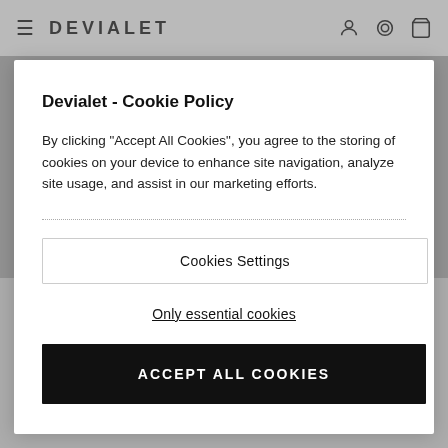[Figure (screenshot): Devialet website navigation bar with hamburger menu, DEVIALET logo, and icons for user, location, and cart]
Devialet - Cookie Policy
By clicking “Accept All Cookies”, you agree to the storing of cookies on your device to enhance site navigation, analyze site usage, and assist in our marketing efforts.
Cookies Settings
Only essential cookies
ACCEPT ALL COOKIES
WHAT IS SAM FOR MAD 1920 S
SAM® Speaker Active Matching works by recognizing the exact specs of your speakers. So